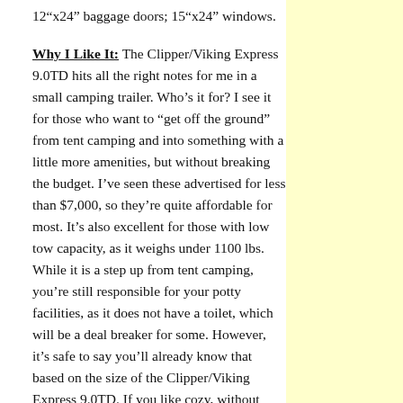12"x24" baggage doors; 15"x24" windows.
Why I Like It: The Clipper/Viking Express 9.0TD hits all the right notes for me in a small camping trailer. Who's it for? I see it for those who want to "get off the ground" from tent camping and into something with a little more amenities, but without breaking the budget. I've seen these advertised for less than $7,000, so they're quite affordable for most. It's also excellent for those with low tow capacity, as it weighs under 1100 lbs. While it is a step up from tent camping, you're still responsible for your potty facilities, as it does not have a toilet, which will be a deal breaker for some. However, it's safe to say you'll already know that based on the size of the Clipper/Viking Express 9.0TD. If you like cozy, without having to pay a king's ransom, this is the ticket. You'd be spending more than half of what an